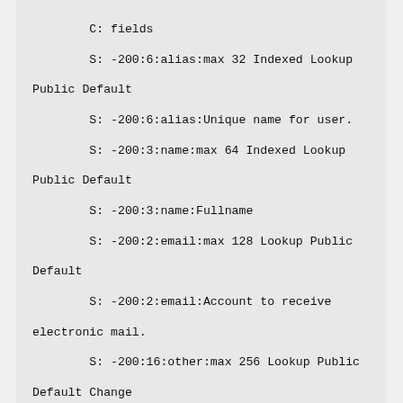C: fields
        S: -200:6:alias:max 32 Indexed Lookup Public Default
        S: -200:6:alias:Unique name for user.
        S: -200:3:name:max 64 Indexed Lookup Public Default
        S: -200:3:name:Fullname
        S: -200:2:email:max 128 Lookup Public Default
        S: -200:2:email:Account to receive electronic mail.
        S: -200:16:other:max 256 Lookup Public Default Change
        S: -200:16:other:Other info the user finds important.
        S: -200:33:home_phone:max 60 Lookup Public Change Turn
        S: -200:33:home_phone:Home telephone number.
        S: 200:Ok.
3.4 id